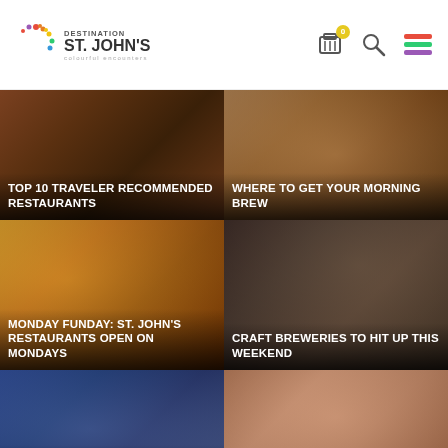Destination St. John's - colourful encounters
[Figure (photo): Food/restaurant photo with text overlay: TOP 10 TRAVELER RECOMMENDED RESTAURANTS]
[Figure (photo): Coffee/morning brew photo with text overlay: WHERE TO GET YOUR MORNING BREW]
[Figure (photo): Burger and fries photo with text overlay: MONDAY FUNDAY: ST. JOHN'S RESTAURANTS OPEN ON MONDAYS]
[Figure (photo): People at craft brewery photo with text overlay: CRAFT BREWERIES TO HIT UP THIS WEEKEND]
[Figure (photo): Mother and child outdoor photo with text overlay: WHERE TO CELEBRATE MOTHER'S DAY IN ST.]
[Figure (photo): Woman smiling photo with text overlay: WOMEN LED BUSINESSES]